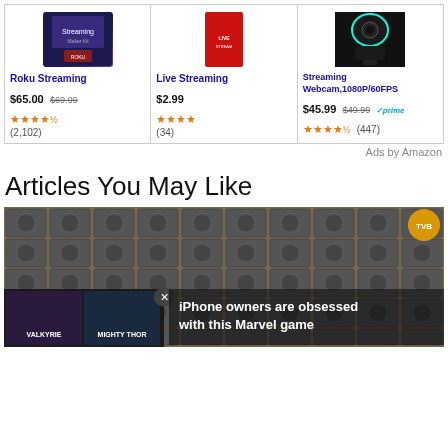[Figure (other): Three Amazon ad product cards: Roku Streaming, Live Streaming book, Streaming Webcam 1080P/60FPS]
Ads by Amazon
Articles You May Like
[Figure (photo): Photo of many stacked graphics cards with an overlaid Marvel game ad and text 'iPhone owners are obsessed with this Marvel game']